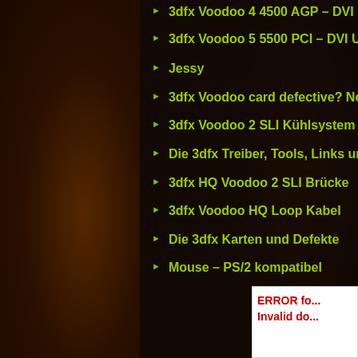3dfx Voodoo 4 4500 AGP – DVI Upgrade
3dfx Voodoo 5 5500 PCI – DVI Upgrade
Jessy
3dfx Voodoo card defective? No problem.
3dfx Voodoo 2 SLI Kühlsystem
Die 3dfx Treiber, Tools, Links und Datenbanken
3dfx HQ Voodoo 2 SLI Brücke
3dfx Voodoo HQ Loop Kabel
Die 3dfx Karten und Defekte
Mouse – PS/2 kompatibel
ERROR fo... Invalid do...